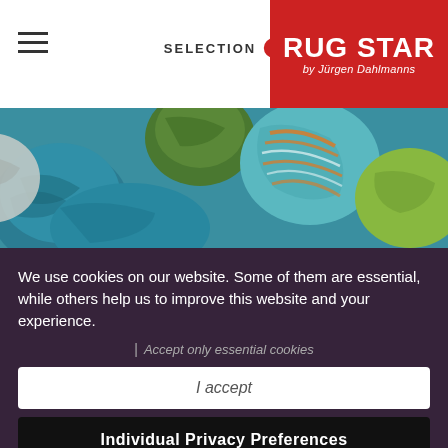SELECTION 0 | RUG STAR by Jürgen Dahlmanns
[Figure (photo): Colorful balls of yarn in various colors including teal, blue, green, orange, and white, arranged together in a close-up shot]
We use cookies on our website. Some of them are essential, while others help us to improve this website and your experience.
| Accept only essential cookies
I accept
Individual Privacy Preferences